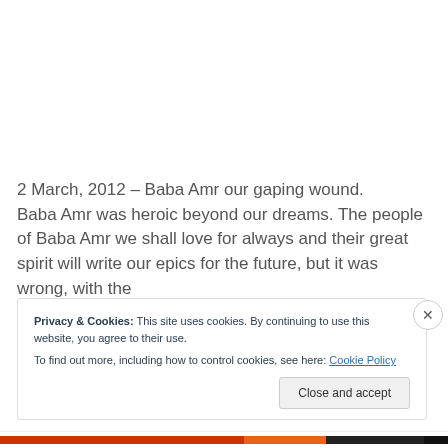2 March, 2012 – Baba Amr our gaping wound.
Baba Amr was heroic beyond our dreams. The people of Baba Amr we shall love for always and their great spirit will write our epics for the future, but it was wrong, with the
Privacy & Cookies: This site uses cookies. By continuing to use this website, you agree to their use.
To find out more, including how to control cookies, see here: Cookie Policy